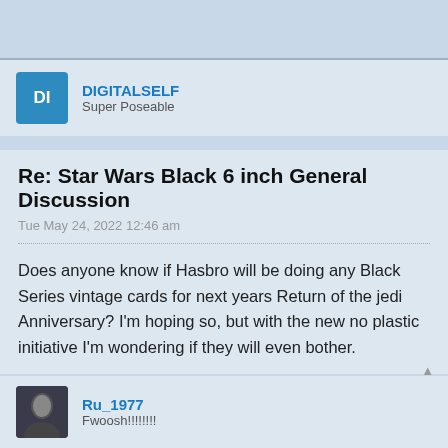[Figure (other): User avatar placeholder box with initials DI on blue background]
DIGITALSELF
Super Poseable
Re: Star Wars Black 6 inch General Discussion
Tue May 24, 2022 12:46 am
Does anyone know if Hasbro will be doing any Black Series vintage cards for next years Return of the jedi Anniversary? I'm hoping so, but with the new no plastic initiative I'm wondering if they will even bother.
[Figure (photo): Small user avatar photo (dark/shadowed figure)]
Ru_1977
Fwoosh!!!!!!!!